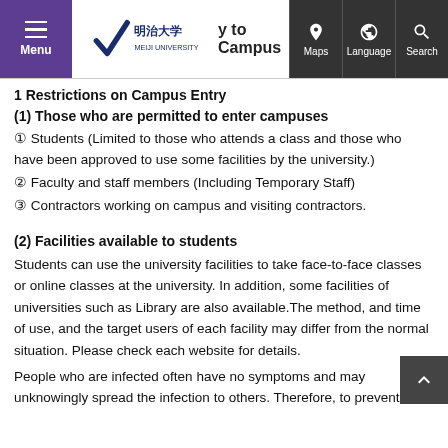Menu | Meiji University | ...y to Campus | Maps | Language | Search
1 Restrictions on Campus Entry
(1) Those who are permitted to enter campuses
① Students (Limited to those who attends a class and those who have been approved to use some facilities by the university.)
② Faculty and staff members (Including Temporary Staff)
③ Contractors working on campus and visiting contractors.
(2) Facilities available to students
Students can use the university facilities to take face-to-face classes or online classes at the university. In addition, some facilities of universities such as Library are also available.The method, and time of use, and the target users of each facility may differ from the normal situation. Please check each website for details.
People who are infected often have no symptoms and may unknowingly spread the infection to others. Therefore, to prevent